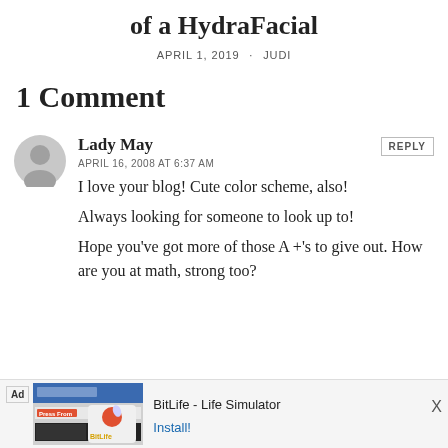of a HydraFacial
APRIL 1, 2019 · JUDI
1 Comment
Lady May
APRIL 16, 2008 AT 6:37 AM
I love your blog! Cute color scheme, also!
Always looking for someone to look up to!
Hope you've got more of those A +'s to give out. How are you at math, strong too?
[Figure (screenshot): BitLife - Life Simulator advertisement banner at bottom of page with Install button]